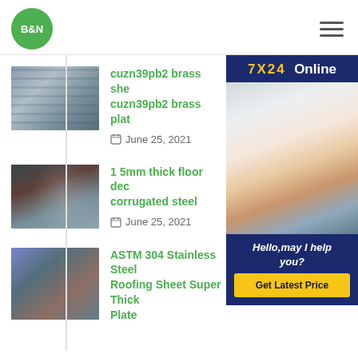[Figure (logo): B&N green circle logo]
[Figure (infographic): Hamburger menu icon]
[Figure (photo): Steel plates thumbnail]
cuzn39pb2 brass she cuzn39pb2 brass plat
June 25, 2021
[Figure (photo): Industrial corrugated steel thumbnail]
1 5mm thick floor dec corrugated steel
June 25, 2021
[Figure (photo): Stainless steel roofing sheet thumbnail]
ASTM 304 Stainless Steel Roofing Sheet Super Thick Plate
[Figure (infographic): 7X24 Online chat widget with customer service representative, Hello may I help you? and Get Latest Price button]